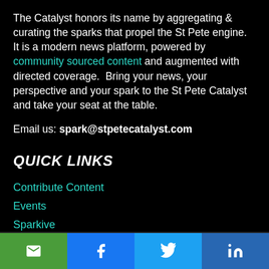The Catalyst honors its name by aggregating & curating the sparks that propel the St Pete engine.  It is a modern news platform, powered by community sourced content and augmented with directed coverage.  Bring your news, your perspective and your spark to the St Pete Catalyst and take your seat at the table.
Email us: spark@stpetecatalyst.com
QUICK LINKS
Contribute Content
Events
Sparkive
The Wire
St Pete X